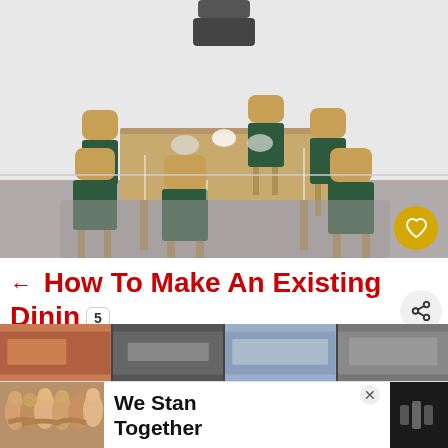[Figure (photo): A modern dining room with a wooden rectangular table surrounded by six chairs with dark green upholstered seats and wooden frames, on a gray tile floor. A dark pendant lamp hangs above. White minimalist background.]
← How To Make An Existing Dining Table Longer [3 Easy Ideas]
[Figure (photo): What's Next thumbnail showing a room layout]
WHAT'S NEXT → 17 10X10 Room Layou...
[Figure (photo): Bottom strip showing three small thumbnail images of rooms and a We Stand Together advertisement banner]
We Stand Together